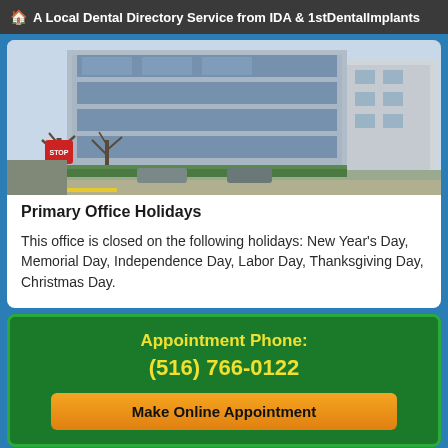🏠 A Local Dental Directory Service from IDA & 1stDentalImplants
[Figure (photo): Exterior photo of a multi-story commercial/office building with glass windows, trees in foreground, taken in winter or early spring]
Primary Office Holidays
This office is closed on the following holidays: New Year's Day, Memorial Day, Independence Day, Labor Day, Thanksgiving Day, Christmas Day.
Appointment Phone: (516) 766-0122
Make Online Appointment
[Figure (logo): ZOOM! whitening brand logo]
[Figure (logo): CEREC dental technology brand logo]